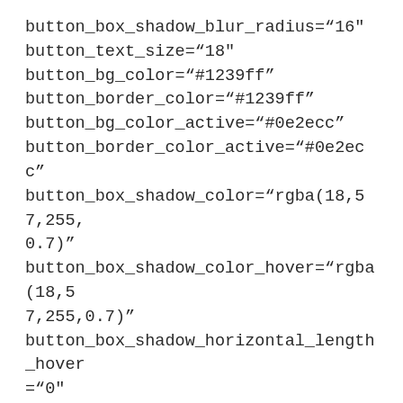button_box_shadow_blur_radius="16"
button_text_size="18"
button_bg_color="#1239ff"
button_border_color="#1239ff"
button_bg_color_active="#0e2ecc"
button_border_color_active="#0e2ecc"
button_box_shadow_color="rgba(18,57,255,0.7)"
button_box_shadow_color_hover="rgba(18,57,255,0.7)"
button_box_shadow_horizontal_length_hover="0"
button_box_shadow_vertical_length_hover="19"
button_box_shadow_blur_radius_hover="16"
button_box_shadow_horizontal_length_active="0"
button_box_shadow_vertical_length_active=